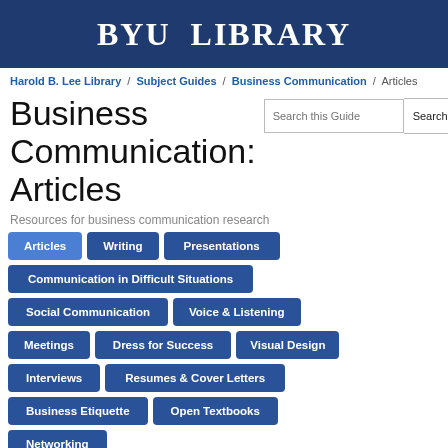BYU LIBRARY
Harold B. Lee Library / Subject Guides / Business Communication / Articles
Business Communication: Articles
Resources for business communication research
Articles
Writing
Presentations
Communication in Difficult Situations
Social Communication
Voice & Listening
Meetings
Dress for Success
Visual Design
Interviews
Resumes & Cover Letters
Business Etiquette
Open Textbooks
Networking